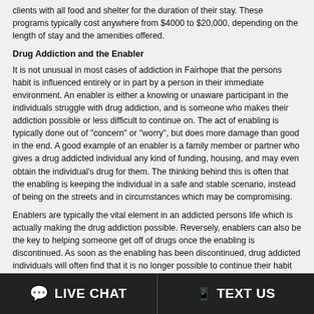clients with all food and shelter for the duration of their stay. These programs typically cost anywhere from $4000 to $20,000, depending on the length of stay and the amenities offered.
Drug Addiction and the Enabler
It is not unusual in most cases of addiction in Fairhope that the persons habit is influenced entirely or in part by a person in their immediate environment. An enabler is either a knowing or unaware participant in the individuals struggle with drug addiction, and is someone who makes their addiction possible or less difficult to continue on. The act of enabling is typically done out of "concern" or "worry", but does more damage than good in the end. A good example of an enabler is a family member or partner who gives a drug addicted individual any kind of funding, housing, and may even obtain the individual's drug for them. The thinking behind this is often that the enabling is keeping the individual in a safe and stable scenario, instead of being on the streets and in circumstances which may be compromising.
Enablers are typically the vital element in an addicted persons life which is actually making the drug addiction possible. Reversely, enablers can also be the key to helping someone get off of drugs once the enabling is discontinued. As soon as the enabling has been discontinued, drug addicted individuals will often find that it is no longer possible to continue their habit and will reach a crisis point. This is why an enabler must recognize the situation immediately and instead of prolonging the individual's addiction, get them into an effective drug treatment center in
LIVE CHAT   TEXT US